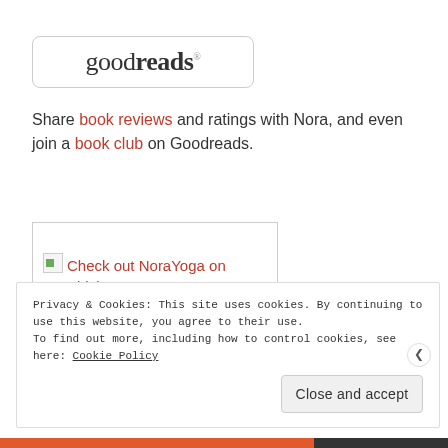[Figure (logo): Goodreads logo in a rounded rectangle border. Text reads 'goodreads' with a registered trademark symbol.]
Share book reviews and ratings with Nora, and even join a book club on Goodreads.
[Figure (screenshot): Broken image icon with text 'Check out NoraYoga on Bidvine' in red, inside a bordered box.]
Privacy & Cookies: This site uses cookies. By continuing to use this website, you agree to their use.
To find out more, including how to control cookies, see here: Cookie Policy
Close and accept